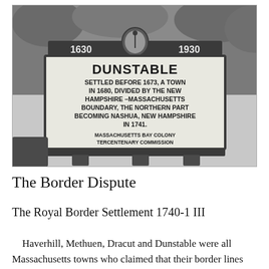[Figure (photo): Black and white photograph of a historical marker sign reading: DUNSTABLE. SETTLED BEFORE 1673, A TOWN IN 1680, DIVIDED BY THE NEW HAMPSHIRE–MASSACHUSETTS BOUNDARY, THE NORTHERN PART BECOMING NASHUA, NEW HAMPSHIRE IN 1741. MASSACHUSETTS BAY COLONY TERCENTENARY COMMISSION. The sign has dates 1630 and 1930 on the top frame with a state seal in the center. Trees are visible in the background.]
The Border Dispute
The Royal Border Settlement 1740-1 III
Haverhill, Methuen, Dracut and Dunstable were all Massachusetts towns who claimed that their border lines